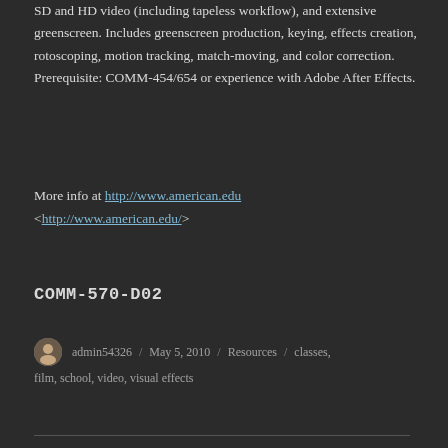SD and HD video (including tapeless workflow), and extensive greenscreen. Includes greenscreen production, keying, effects creation, rotoscoping, motion tracking, match-moving, and color correction. Prerequisite: COMM-454/654 or experience with Adobe After Effects.
More info at http://www.american.edu <http://www.american.edu/>
COMM-570-D02
admin54326 / May 5, 2010 / Resources / classes, film, school, video, visual effects